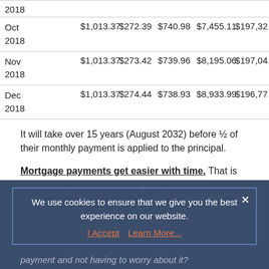| Date | Payment | Principal | Interest | Total Interest | Balance |
| --- | --- | --- | --- | --- | --- |
| 2018 |  |  |  |  |  |
| Oct 2018 | $1,013.37 | $272.39 | $740.98 | $7,455.11 | $197,32... |
| Nov 2018 | $1,013.37 | $273.42 | $739.96 | $8,195.06 | $197,04... |
| Dec 2018 | $1,013.37 | $274.44 | $738.93 | $8,933.99 | $196,77... |
It will take over 15 years (August 2032) before ½ of their monthly payment is applied to the principal.
Mortgage payments get easier with time. That is true, unless you are getting close to retirement and realize you need to accelerate your retirement savings.
We use cookies to ensure that we give you the best experience on our website.
What's so bad about having a fixed mortgage payment and not having to worry about it?
In today's world of job insecurity, few pundits ask, "What...